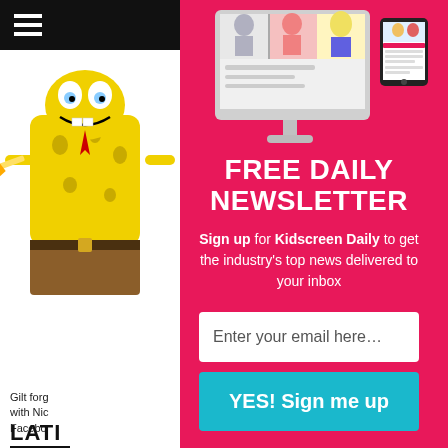[Figure (screenshot): Website background showing hamburger menu icon in black bar, SpongeBob cartoon illustration on left, and yellow strip on right.]
[Figure (screenshot): Monitor and tablet device showing Kidscreen website content, displayed at top of modal overlay.]
FREE DAILY NEWSLETTER
Sign up for Kidscreen Daily to get the industry's top news delivered to your inbox
Enter your email here…
YES! Sign me up